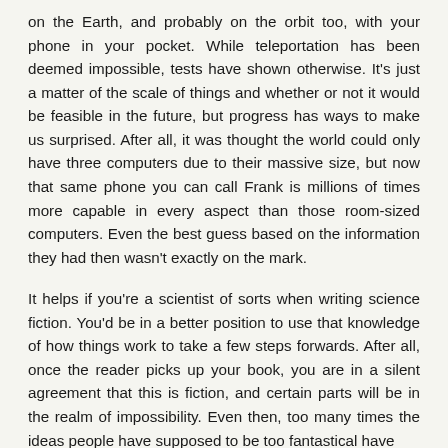on the Earth, and probably on the orbit too, with your phone in your pocket. While teleportation has been deemed impossible, tests have shown otherwise. It's just a matter of the scale of things and whether or not it would be feasible in the future, but progress has ways to make us surprised. After all, it was thought the world could only have three computers due to their massive size, but now that same phone you can call Frank is millions of times more capable in every aspect than those room-sized computers. Even the best guess based on the information they had then wasn't exactly on the mark.
It helps if you're a scientist of sorts when writing science fiction. You'd be in a better position to use that knowledge of how things work to take a few steps forwards. After all, once the reader picks up your book, you are in a silent agreement that this is fiction, and certain parts will be in the realm of impossibility. Even then, too many times the ideas people have supposed to be too fantastical have